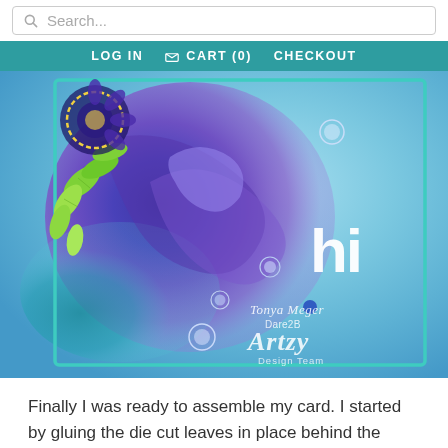Search...
LOG IN   CART (0)   CHECKOUT
[Figure (photo): Close-up photo of a handmade greeting card with blue and purple alcohol ink background, green die-cut leaves, a decorative flower stamp, sequins, and white 'hi' text. Watermark reads 'Tonya Meger Dare2B Artzy Design Team'.]
Finally I was ready to assemble my card. I started by gluing the die cut leaves in place behind the flower.